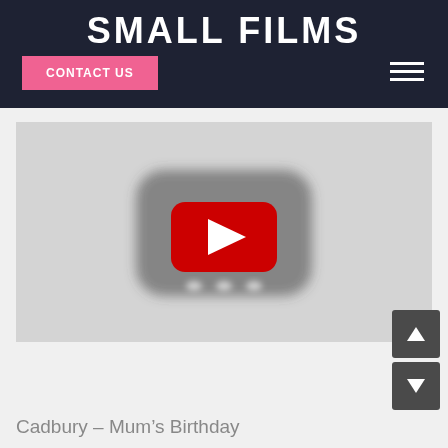SMALL FILMS
CONTACT US
[Figure (screenshot): YouTube video embed placeholder showing a grey background with a blurred YouTube play button icon (red rectangle with white triangle play arrow) in the center]
Cadbury – Mum's Birthday